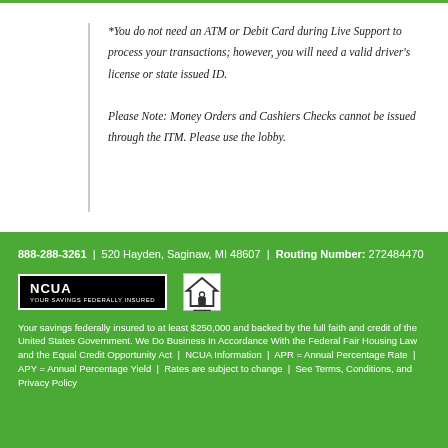*You do not need an ATM or Debit Card during Live Support to process your transactions; however, you will need a valid driver's license or state issued ID. Please Note: Money Orders and Cashiers Checks cannot be issued through the ITM. Please use the lobby.
888-288-3261 | 520 Hayden, Saginaw, MI 48607 | Routing Number: 272484470
[Figure (logo): NCUA logo (black badge) and Equal Housing Opportunity logo side by side]
Your savings federally insured to at least $250,000 and backed by the full faith and credit of the United States Government. We Do Business In Accordance With the Federal Fair Housing Law and the Equal Credit Opportunity Act | NCUA Information | APR = Annual Percentage Rate | APY = Annual Percentage Yield | Rates are subject to change | See Terms, Conditions, and Privacy Policy...